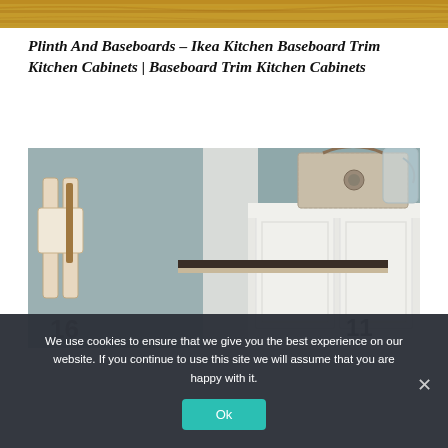[Figure (photo): Wood grain texture banner at top of page]
Plinth And Baseboards – Ikea Kitchen Baseboard Trim Kitchen Cabinets | Baseboard Trim Kitchen Cabinets
[Figure (photo): Interior kitchen photo showing white cabinets with dark trim/plinth detail, decorative basket and glass jar on top, chair visible on left side]
We use cookies to ensure that we give you the best experience on our website. If you continue to use this site we will assume that you are happy with it.